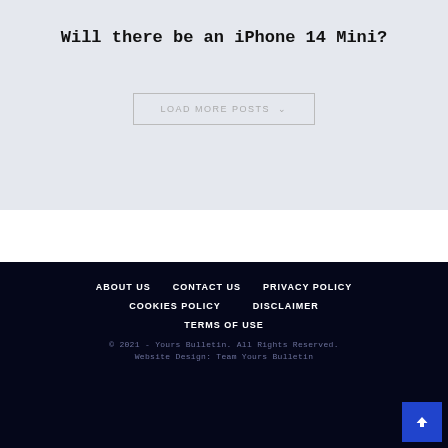Will there be an iPhone 14 Mini?
LOAD MORE POSTS ∨
ABOUT US   CONTACT US   PRIVACY POLICY   COOKIES POLICY   DISCLAIMER   TERMS OF USE   © 2021 - Yours Bulletin. All Rights Reserved.   Website Design: Team Yours Bulletin